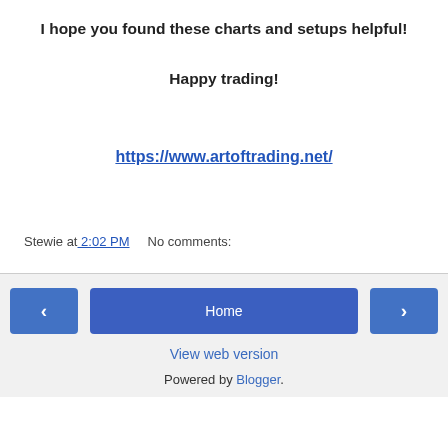I hope you found these charts and setups helpful!
Happy trading!
https://www.artoftrading.net/
Stewie at 2:02 PM    No comments:
‹   Home   ›   View web version   Powered by Blogger.